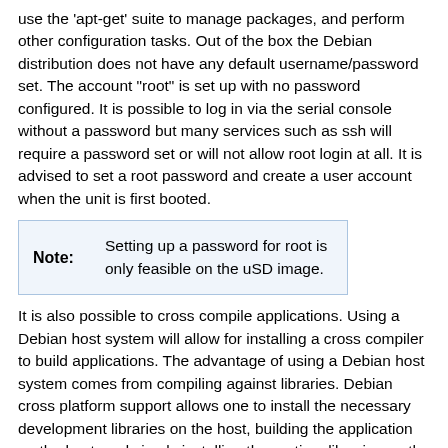use the 'apt-get' suite to manage packages, and perform other configuration tasks. Out of the box the Debian distribution does not have any default username/password set. The account "root" is set up with no password configured. It is possible to log in via the serial console without a password but many services such as ssh will require a password set or will not allow root login at all. It is advised to set a root password and create a user account when the unit is first booted.
Note: Setting up a password for root is only feasible on the uSD image.
It is also possible to cross compile applications. Using a Debian host system will allow for installing a cross compiler to build applications. The advantage of using a Debian host system comes from compiling against libraries. Debian cross platform support allows one to install the necessary development libraries on the host, building the application on the host, and simply installing the runtime libraries on the target device. The library versions will be the same and completely compatible with each